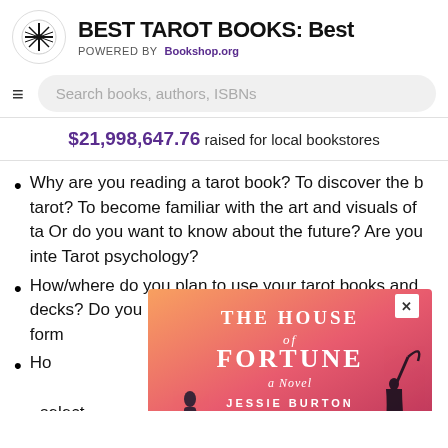BEST TAROT BOOKS: Best — POWERED BY Bookshop.org
$21,998,647.76 raised for local bookstores
Why are you reading a tarot book? To discover the basics of tarot? To become familiar with the art and visuals of tarot? Or do you want to know about the future? Are you interested in Tarot psychology?
How/where do you plan to use your tarot books and decks? Do you prefer your book in digital or print form
Ho... reading select... ke an en... It wou... tart to e... are ot... ncise, th...
[Figure (illustration): Book advertisement popup for 'The House of Fortune: A Novel' by Jessie Burton, with gradient orange-pink background and silhouette figures]